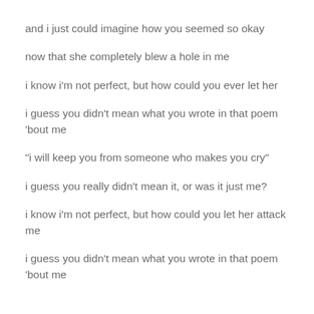and i just could imagine how you seemed so okay
now that she completely blew a hole in me
i know i'm not perfect, but how could you ever let her
i guess you didn't mean what you wrote in that poem 'bout me
“i will keep you from someone who makes you cry”
i guess you really didn't mean it, or was it just me?
i know i'm not perfect, but how could you let her attack me
i guess you didn't mean what you wrote in that poem 'bout me